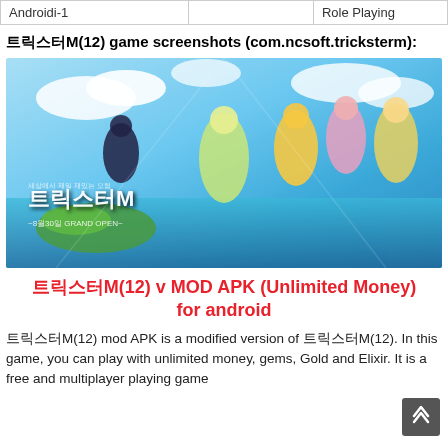| Androidi-1 |  | Role Playing |
| --- | --- | --- |
트릭스터M(12) game screenshots (com.ncsoft.tricksterm):
[Figure (illustration): Trickster M game promotional banner with anime-style characters in a colorful sky and ocean scene, with Korean title 트릭스터M and GRAND OPEN text]
트릭스터M(12) v MOD APK (Unlimited Money) for android
트릭스터M(12) mod APK is a modified version of 트릭스터M(12). In this game, you can play with unlimited money, gems, Gold and Elixir. It is a free and multiplayer playing game